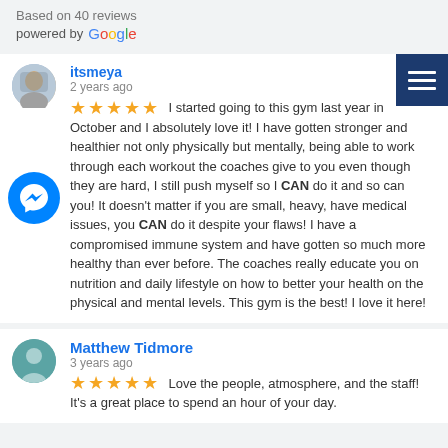Based on 40 reviews
powered by Google
itsmeya
2 years ago
★★★★★ I started going to this gym last year in October and I absolutely love it! I have gotten stronger and healthier not only physically but mentally, being able to work through each workout the coaches give to you even though they are hard, I still push myself so I CAN do it and so can you! It doesn't matter if you are small, heavy, have medical issues, you CAN do it despite your flaws! I have a compromised immune system and have gotten so much more healthy than ever before. The coaches really educate you on nutrition and daily lifestyle on how to better your health on the physical and mental levels. This gym is the best! I love it here!
Matthew Tidmore
3 years ago
★★★★★ Love the people, atmosphere, and the staff!  It's a great place to spend an hour of your day.